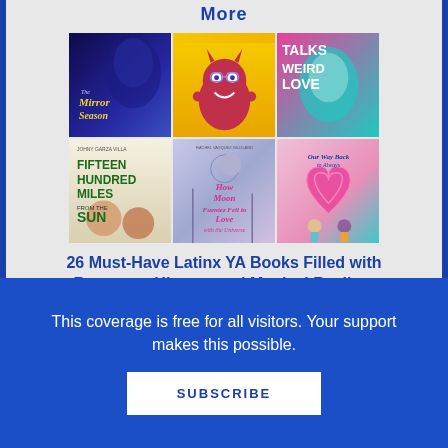More
[Figure (illustration): Grid of 6 YA book covers: The Mirror Season, a monster children's book, Talks Weird Love, Fifteen Hundred Miles from the Sun, How Moon Fuentez Fell in Love with the Universe, Our Way Back to Always]
26 Must-Have Latinx YA Books Filled with Romance, History, and Magical Realism
This coverage is free for all visitors. Your support makes this possible.
SUBSCRIBE